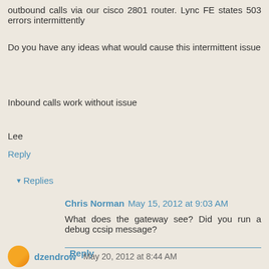outbound calls via our cisco 2801 router. Lync FE states 503 errors intermittently
Do you have any ideas what would cause this intermittent issue
Inbound calls work without issue
Lee
Reply
Replies
Chris Norman May 15, 2012 at 9:03 AM
What does the gateway see? Did you run a debug ccsip message?
Reply
dzendrow May 20, 2012 at 8:44 AM